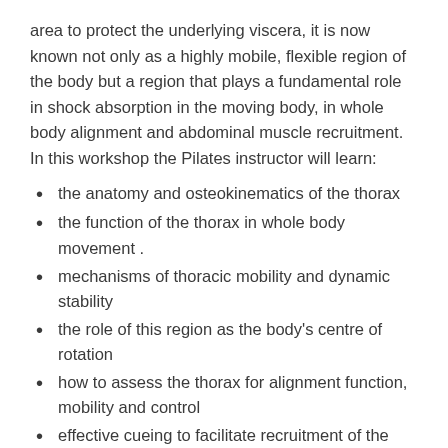area to protect the underlying viscera, it is now known not only as a highly mobile, flexible region of the body but a region that plays a fundamental role in shock absorption in the moving body, in whole body alignment and abdominal muscle recruitment. In this workshop the Pilates instructor will learn:
the anatomy and osteokinematics of the thorax
the function of the thorax in whole body movement .
mechanisms of thoracic mobility and dynamic stability
the role of this region as the body's centre of rotation
how to assess the thorax for alignment function, mobility and control
effective cueing to facilitate recruitment of the deep controlling mechanisms of the thorax for optimal mobility and control
positional release techniques in the Pilates studio to decompress the thorax to promote successful whole body movement in a Pilates session.